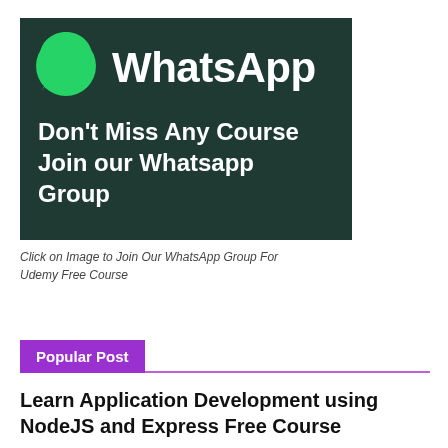[Figure (illustration): WhatsApp promotional banner on dark green background with WhatsApp logo and text 'Don't Miss Any Course Join our Whatsapp Group']
Click on Image to Join Our WhatsApp Group For Udemy Free Course
Popular Post
Learn Application Development using NodeJS and Express Free Course